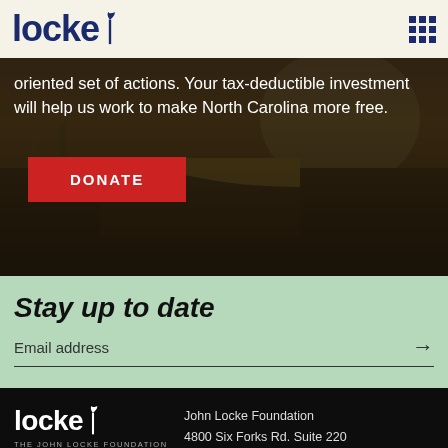locke (logo) | John Locke Foundation
oriented set of actions. Your tax-deductible investment will help us work to make North Carolina more free.
[Figure (other): Red DONATE button on dark landscape hero image background]
Stay up to date
Email address
John Locke Foundation | 4800 Six Forks Rd. Suite 220 | Raleigh, NC 27609 | (919) 828-3876 | info@johnlocke.org